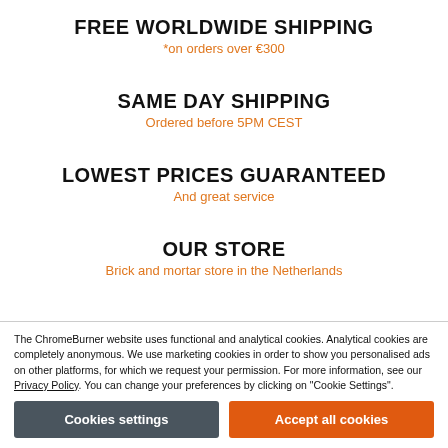FREE WORLDWIDE SHIPPING
*on orders over €300
SAME DAY SHIPPING
Ordered before 5PM CEST
LOWEST PRICES GUARANTEED
And great service
OUR STORE
Brick and mortar store in the Netherlands
The ChromeBurner website uses functional and analytical cookies. Analytical cookies are completely anonymous. We use marketing cookies in order to show you personalised ads on other platforms, for which we request your permission. For more information, see our Privacy Policy. You can change your preferences by clicking on "Cookie Settings".